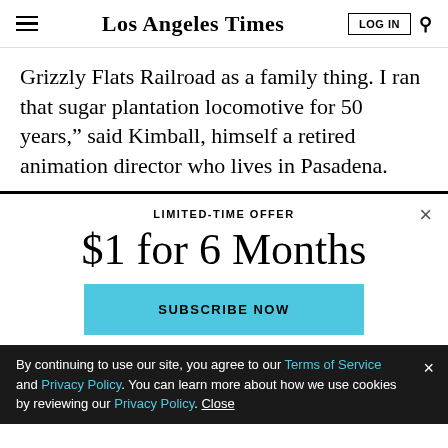Los Angeles Times
Grizzly Flats Railroad as a family thing. I ran that sugar plantation locomotive for 50 years,” said Kimball, himself a retired animation director who lives in Pasadena.
LIMITED-TIME OFFER
$1 for 6 Months
SUBSCRIBE NOW
By continuing to use our site, you agree to our Terms of Service and Privacy Policy. You can learn more about how we use cookies by reviewing our Privacy Policy. Close